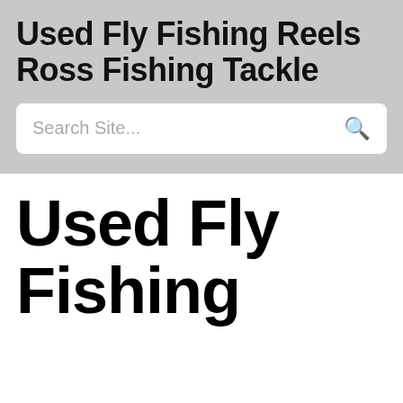Used Fly Fishing Reels Ross Fishing Tackle
Used Fly Fishing